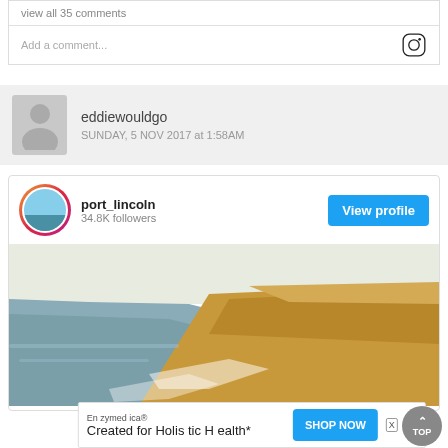view all 35 comments
Add a comment...
eddiewouldgo
SUNDAY, 5 NOV 2017 at 1:58AM
port_lincoln
34.8K followers
View profile
[Figure (photo): Aerial coastal landscape photo showing cliffs and ocean, used in Instagram embed card for port_lincoln]
Enzymedica®
Created for Holistic Health*
SHOP NOW